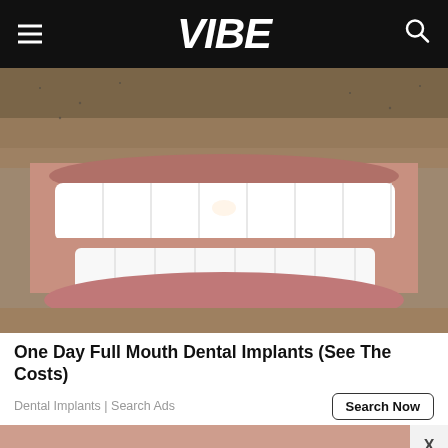VIBE
[Figure (photo): Close-up photo of a person smiling showing dental implants/veneers — bright white teeth with stubble visible around mouth]
One Day Full Mouth Dental Implants (See The Costs)
Dental Implants | Search Ads
[Figure (photo): Partial view of a second dental/lip photo advertisement]
[Figure (infographic): Amazon Fire HD Tablets advertisement banner: 'AMAZON FIRE HD TABLETS JUST $45 RIGHT NOW' with SPY logo on yellow background]